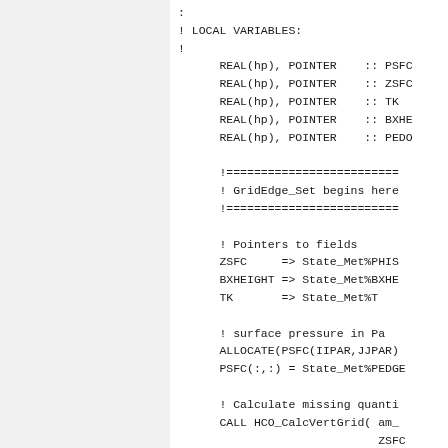: ! LOCAL VARIABLES: ! REAL(hp), POINTER :: PSFC REAL(hp), POINTER :: ZSFC REAL(hp), POINTER :: TK REAL(hp), POINTER :: BXHEIGHT REAL(hp), POINTER :: PEDGE !========================= ! GridEdge_Set begins here !========================= ! Pointers to fields ZSFC => State_Met%PHIS BXHEIGHT => State_Met%BXHEIGHT TK => State_Met%T ! surface pressure in Pa ALLOCATE(PSFC(IIPAR,JJPAR) PSFC(:,:) = State_Met%PEDGE ! Calculate missing quanti CALL HCO_CalcVertGrid( am_ ZSFC